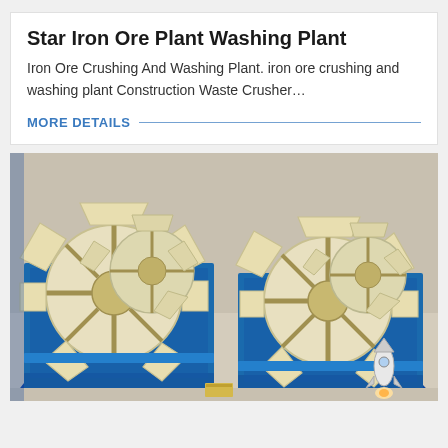[Figure (photo): Top strip of an industrial machine or conveyor, partially visible at the very top of the page.]
Star Iron Ore Plant Washing Plant
Iron Ore Crushing And Washing Plant. iron ore crushing and washing plant Construction Waste Crusher…
MORE DETAILS
[Figure (photo): Industrial iron ore washing plant equipment — large cream/off-white paddle wheels mounted in blue steel troughs/basins sitting on a concrete floor. Multiple wheel assemblies visible side by side.]